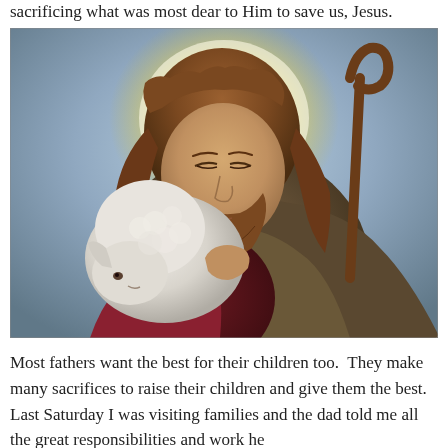sacrificing what was most dear to Him to save us, Jesus.
[Figure (illustration): Classical religious painting of Jesus as the Good Shepherd, holding a white lamb tenderly against his cheek. Jesus has long brown hair and a beard, wearing a dark fur-trimmed garment and a red robe underneath. He holds a wooden shepherd's crook in his right hand. A golden halo glows behind his head. The background is a soft blue-grey sky.]
Most fathers want the best for their children too. They make many sacrifices to raise their children and give them the best. Last Saturday I was visiting families and the dad told me all the great responsibilities and work he